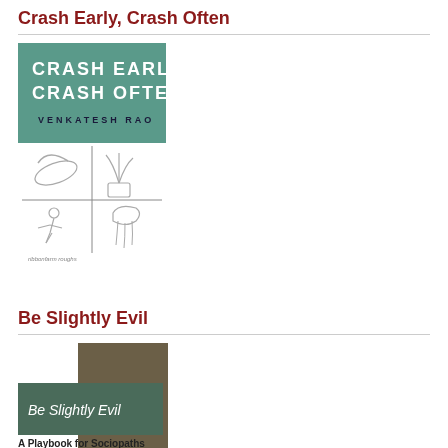Crash Early, Crash Often
[Figure (illustration): Book cover for 'Crash Early Crash Often' by Venkatesh Rao. Teal/green upper half with white text reading 'CRASH EARLY CRASH OFTEN' and 'VENKATESH RAO'. White lower half with four hand-drawn sketches in a 2x2 grid: a banana, a potted plant, a person crashing, and a jellyfish. Bottom text: 'ribbonfarm roughs'.]
Be Slightly Evil
[Figure (illustration): Book cover for 'Be Slightly Evil: A Playbook for Sociopaths'. Two overlapping rectangles — a dark olive/brown vertical rectangle on the right, and a darker teal/green horizontal rectangle on the left — with white text 'Be Slightly Evil' on the green rectangle and 'A Playbook for Sociopaths' below in black text.]